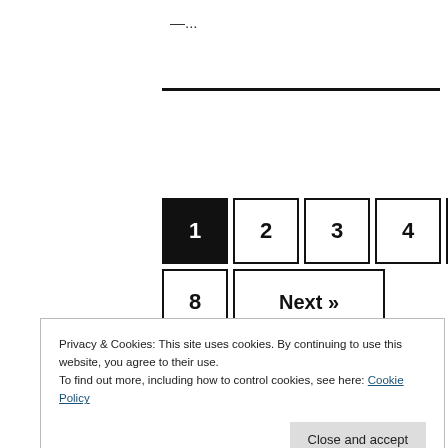—...
1 2 3 4 5 6 ... 8 Next »
FOLLOW US
[Figure (illustration): Social media icons: Instagram, Twitter, Facebook, YouTube, TikTok]
Privacy & Cookies: This site uses cookies. By continuing to use this website, you agree to their use.
To find out more, including how to control cookies, see here: Cookie Policy
Close and accept